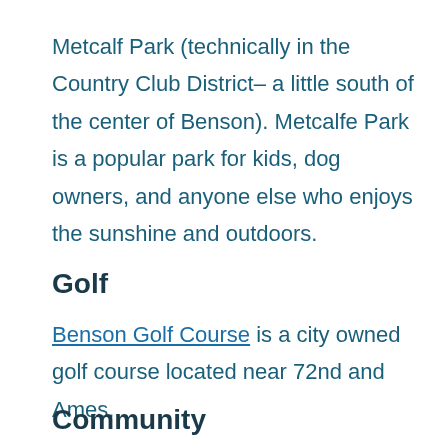Metcalf Park (technically in the Country Club District– a little south of the center of Benson). Metcalfe Park is a popular park for kids, dog owners, and anyone else who enjoys the sunshine and outdoors.
Golf
Benson Golf Course is a city owned golf course located near 72nd and Ames.
Community